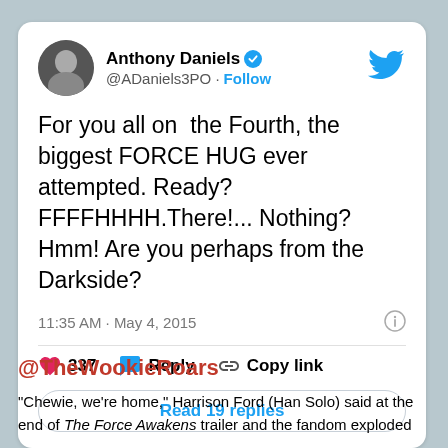[Figure (screenshot): Twitter/X profile avatar of Anthony Daniels — circular photo of a man in dark clothing]
Anthony Daniels ✓
@ADaniels3PO · Follow
For you all on  the Fourth, the biggest FORCE HUG ever attempted. Ready? FFFFHHHH.There!... Nothing? Hmm! Are you perhaps from the Darkside?
11:35 AM · May 4, 2015
♥ 337   Reply   Copy link
Read 19 replies
@TheWookieRoars
"Chewie, we're home," Harrison Ford (Han Solo) said at the end of The Force Awakens trailer and the fandom exploded